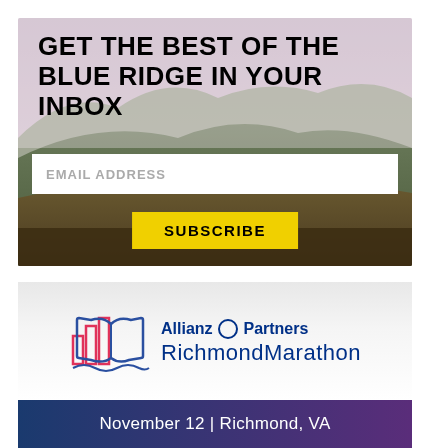[Figure (infographic): Newsletter signup box with mountain/Blue Ridge landscape background photo, bold uppercase headline 'GET THE BEST OF THE BLUE RIDGE IN YOUR INBOX', an email address input field, and a yellow SUBSCRIBE button]
[Figure (logo): Allianz Partners Richmond Marathon logo with stylized city/book icon in pink and blue, text reading 'Allianz Partners RichmondMarathon' in blue]
November 12 | Richmond, VA
[Figure (photo): Partial photo of Richmond Marathon advertisement showing autumn tree and partial circular badge]